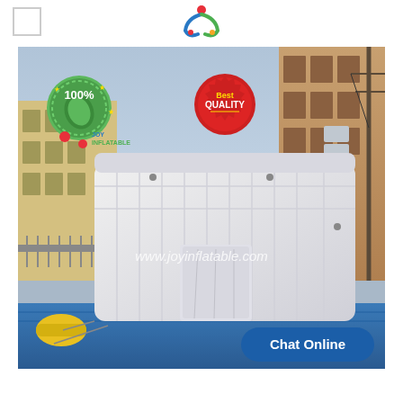[Figure (logo): JoyInflatable company logo - colorful JL letters with red dot on top]
[Figure (photo): Large white inflatable tent structure set up outdoors on a blue tarp, with buildings visible in the background. Contains badges: 100% green quality badge top-left, Best Quality red badge top-center, JoyInflatable logo top-left area. Watermark text reads www.joyinflatable.com. Chat Online button bottom-right.]